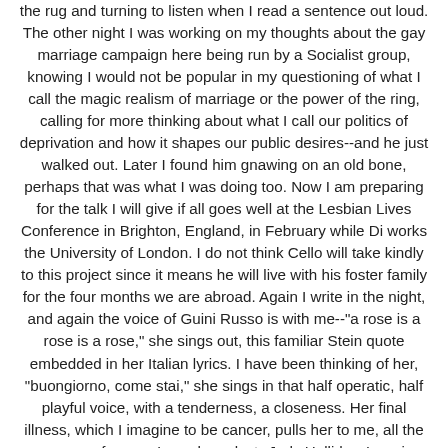the rug and turning to listen when I read a sentence out loud. The other night I was working on my thoughts about the gay marriage campaign here being run by a Socialist group, knowing I would not be popular in my questioning of what I call the magic realism of marriage or the power of the ring, calling for more thinking about what I call our politics of deprivation and how it shapes our public desires--and he just walked out. Later I found him gnawing on an old bone, perhaps that was what I was doing too. Now I am preparing for the talk I will give if all goes well at the Lesbian Lives Conference in Brighton, England, in February while Di works the University of London. I do not think Cello will take kindly to this project since it means he will live with his foster family for the four months we are abroad. Again I write in the night, and again the voice of Guini Russo is with me--"a rose is a rose is a rose," she sings out, this familiar Stein quote embedded in her Italian lyrics. I have been thinking of her, "buongiorno, come stai," she sings in that half operatic, half playful voice, with a tenderness, a closeness. Her final illness, which I imagine to be cancer, pulls her to me, all the women performers I, we, have lost--Judy Holliday, Lorraine Hansberry, Gilda Ratner, Madilyn Kahn--too soon. These are